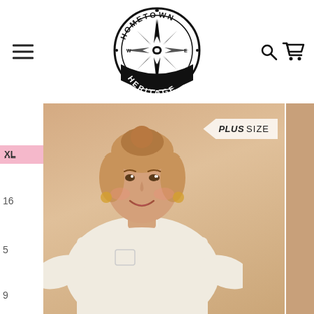[Figure (logo): Hometown Heritage compass logo — circular black and white emblem with compass rose and decorative banner]
[Figure (photo): Plus-size woman with blonde updo hair wearing a cream/off-white long sleeve top with a chest pocket, smiling, against a warm beige background. A 'PLUS SIZE' badge is overlaid on the upper right of the photo.]
XL
16
5
9